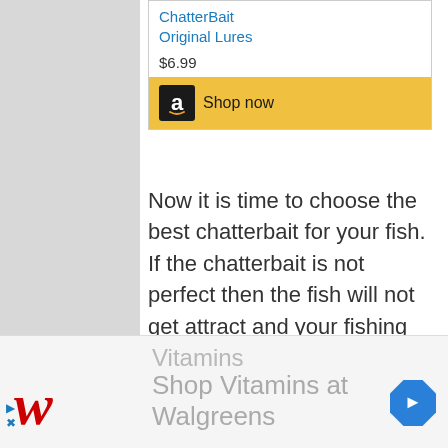[Figure (screenshot): Amazon product listing for ChatterBait Original Lures showing price $6.99 and a Shop now button with Amazon logo on gold background]
Now it is time to choose the best chatterbait for your fish. If the chatterbait is not perfect then the fish will not get attract and your fishing experience will not be a good one.
While choosing the best chatterbait you have to focus on color, size, and
[Figure (screenshot): Walgreens advertisement banner showing Vitamins text in grey, Walgreens red cursive logo, Shop Vitamins at Walgreens text in grey, and a blue diamond navigation icon]